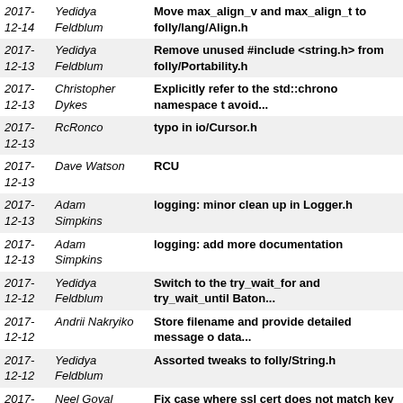| Date | Author | Commit Message |
| --- | --- | --- |
| 2017-
12-14 | Yedidya Feldblum | Move max_align_v and max_align_t to folly/lang/Align.h |
| 2017-
12-13 | Yedidya Feldblum | Remove unused #include <string.h> from folly/Portability.h |
| 2017-
12-13 | Christopher Dykes | Explicitly refer to the std::chrono namespace t avoid... |
| 2017-
12-13 | RcRonco | typo in io/Cursor.h |
| 2017-
12-13 | Dave Watson | RCU |
| 2017-
12-13 | Adam Simpkins | logging: minor clean up in Logger.h |
| 2017-
12-13 | Adam Simpkins | logging: add more documentation |
| 2017-
12-12 | Yedidya Feldblum | Switch to the try_wait_for and try_wait_until Baton... |
| 2017-
12-12 | Andrii Nakryiko | Store filename and provide detailed message o data... |
| 2017-
12-12 | Yedidya Feldblum | Assorted tweaks to folly/String.h |
| 2017-
12-12 | Neel Goyal | Fix case where ssl cert does not match key |
| 2017-
12-12 | Yedidya Feldblum | folly::fibers::Baton API consistency with folly::Baton |
| 2017-
12-12 | Nick Terrell | Pass ZSTD_CONTENTSIZE_UNKNOWN |